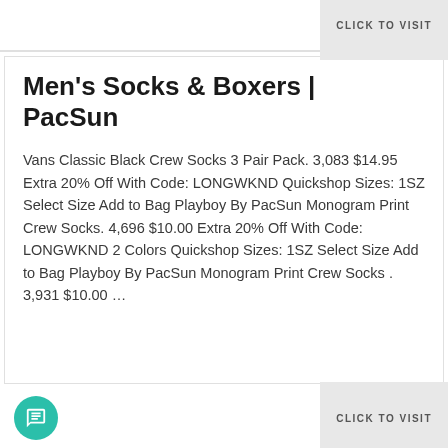CLICK TO VISIT
Men's Socks & Boxers | PacSun
Vans Classic Black Crew Socks 3 Pair Pack. 3,083 $14.95 Extra 20% Off With Code: LONGWKND Quickshop Sizes: 1SZ Select Size Add to Bag Playboy By PacSun Monogram Print Crew Socks. 4,696 $10.00 Extra 20% Off With Code: LONGWKND 2 Colors Quickshop Sizes: 1SZ Select Size Add to Bag Playboy By PacSun Monogram Print Crew Socks . 3,931 $10.00 …
CLICK TO VISIT